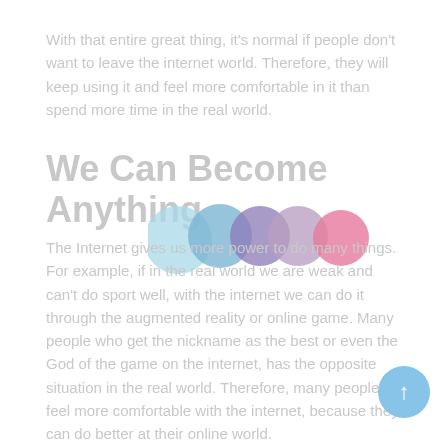With that entire great thing, it's normal if people don't want to leave the internet world. Therefore, they will keep using it and feel more comfortable in it than spend more time in the real world.
We Can Become Anything
[Figure (illustration): Five overlapping circles in light blue, blue, purple, mauve/pink, and hot pink colors arranged horizontally]
The Internet gives us more power to do many things. For example, if in the real world we are weak and can't do sport well, with the internet we can do it through the augmented reality or online game. Many people who get the nickname as the best or even the God of the game on the internet, has the opposite situation in the real world. Therefore, many people feel more comfortable with the internet, because they can do better at their online world.